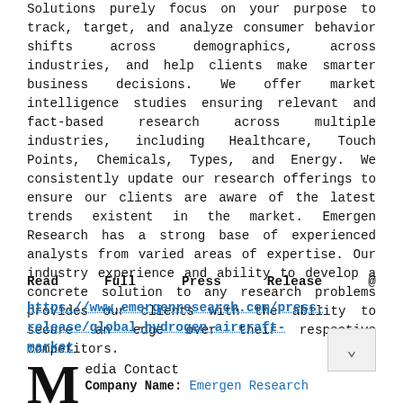Solutions purely focus on your purpose to track, target, and analyze consumer behavior shifts across demographics, across industries, and help clients make smarter business decisions. We offer market intelligence studies ensuring relevant and fact-based research across multiple industries, including Healthcare, Touch Points, Chemicals, Types, and Energy. We consistently update our research offerings to ensure our clients are aware of the latest trends existent in the market. Emergen Research has a strong base of experienced analysts from varied areas of expertise. Our industry experience and ability to develop a concrete solution to any research problems provides our clients with the ability to secure an edge over their respective competitors.
Read Full Press Release @
https://www.emergenresearch.com/press-release/global-hydrogen-aircraft-market
Media Contact Company Name: Emergen Research